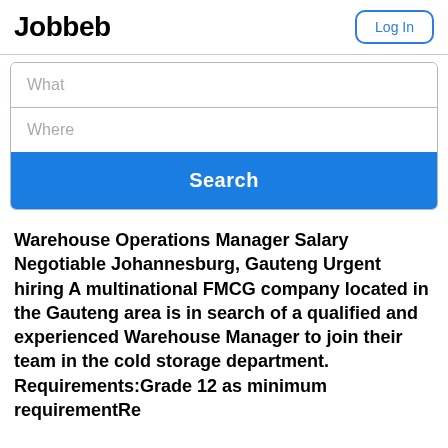Jobbeb
Log In
What
Where
Search
Warehouse Operations Manager Salary Negotiable Johannesburg, Gauteng Urgent hiring A multinational FMCG company located in the Gauteng area is in search of a qualified and experienced Warehouse Manager to join their team in the cold storage department. Requirements:Grade 12 as minimum requirementRe